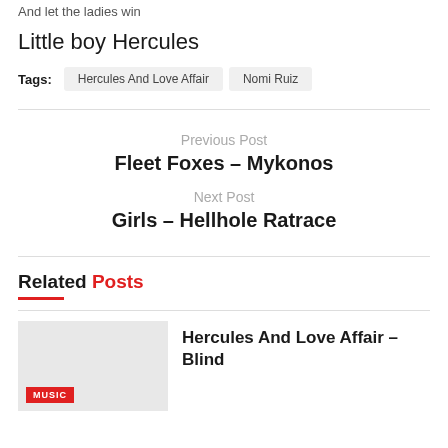And let the ladies win
Little boy Hercules
Tags: Hercules And Love Affair  Nomi Ruiz
Previous Post
Fleet Foxes – Mykonos
Next Post
Girls – Hellhole Ratrace
Related Posts
MUSIC
Hercules And Love Affair – Blind